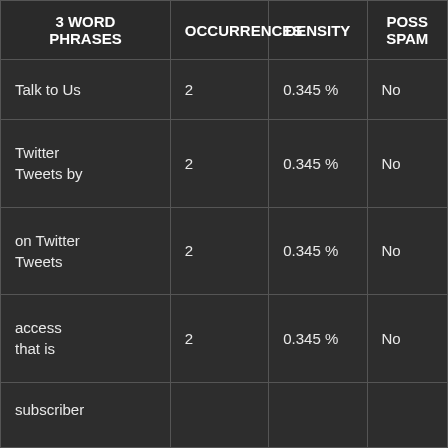| 3 WORD PHRASES | OCCURRENCES | DENSITY | POSS SPAM |
| --- | --- | --- | --- |
| Talk to Us | 2 | 0.345 % | No |
| Twitter Tweets by | 2 | 0.345 % | No |
| on Twitter Tweets | 2 | 0.345 % | No |
| access that is | 2 | 0.345 % | No |
| subscriber |  |  |  |